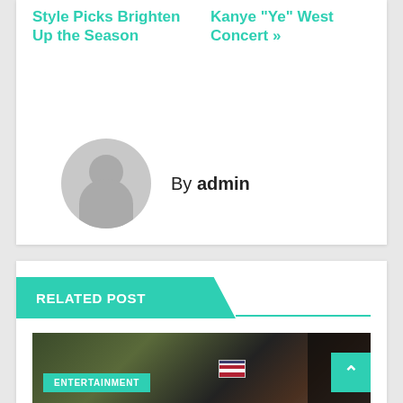Style Picks Brighten Up the Season
Kanye "Ye" West Concert »
By admin
RELATED POST
[Figure (photo): Close-up photo of a motorcycle handlebar with an American flag patch visible, dark background on the right side]
ENTERTAINMENT